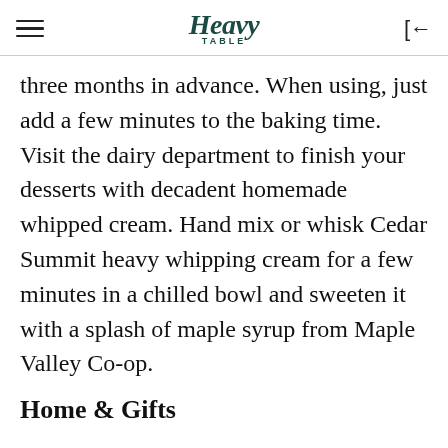Heavy Table
three months in advance. When using, just add a few minutes to the baking time. Visit the dairy department to finish your desserts with decadent homemade whipped cream. Hand mix or whisk Cedar Summit heavy whipping cream for a few minutes in a chilled bowl and sweeten it with a splash of maple syrup from Maple Valley Co-op.
Home & Gifts